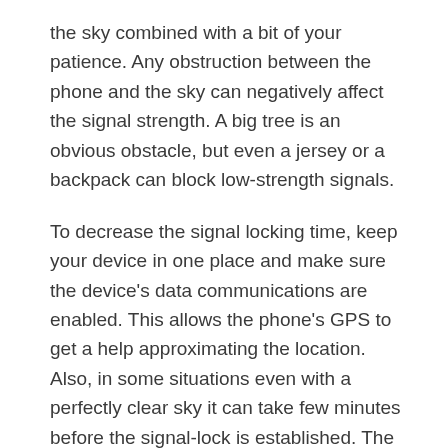the sky combined with a bit of your patience. Any obstruction between the phone and the sky can negatively affect the signal strength. A big tree is an obvious obstacle, but even a jersey or a backpack can block low-strength signals.
To decrease the signal locking time, keep your device in one place and make sure the device's data communications are enabled. This allows the phone's GPS to get a help approximating the location. Also, in some situations even with a perfectly clear sky it can take few minutes before the signal-lock is established. The majority of Android phones produced in a last couple of years include fairly solid GPS sensors however not all GPS sensors are created equal.
Variable performance